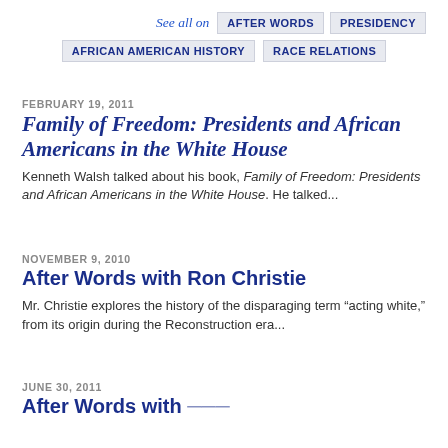See all on  AFTER WORDS  PRESIDENCY  AFRICAN AMERICAN HISTORY  RACE RELATIONS
FEBRUARY 19, 2011
Family of Freedom: Presidents and African Americans in the White House
Kenneth Walsh talked about his book, Family of Freedom: Presidents and African Americans in the White House. He talked...
NOVEMBER 9, 2010
After Words with Ron Christie
Mr. Christie explores the history of the disparaging term “acting white,” from its origin during the Reconstruction era...
JUNE 30, 2011
After Words with...